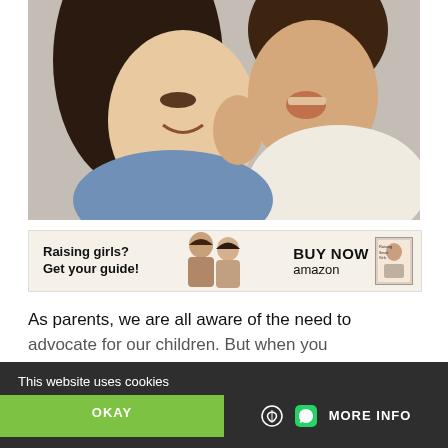[Figure (photo): A smiling woman holding a laughing toddler close to her face, both appear joyful. The woman wears a denim jacket; the child wears a cream knit sweater.]
[Figure (infographic): Advertisement banner: 'Raising girls? Get your guide!' with an image of two females and a 'BUY NOW amazon' call to action with a book cover.]
As parents, we are all aware of the need to advocate for our children. But when you
This website uses cookies
OKAY
MORE INFO